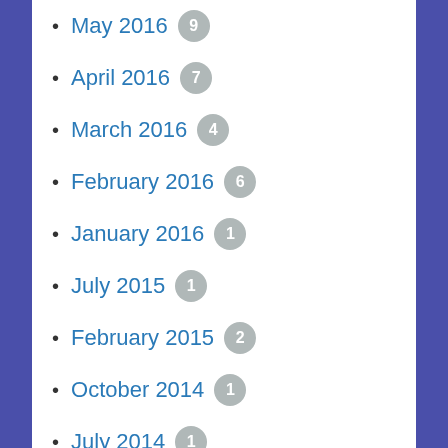May 2016 9
April 2016 7
March 2016 4
February 2016 6
January 2016 1
July 2015 1
February 2015 2
October 2014 1
July 2014 1
March 2014 1
February 2014 4